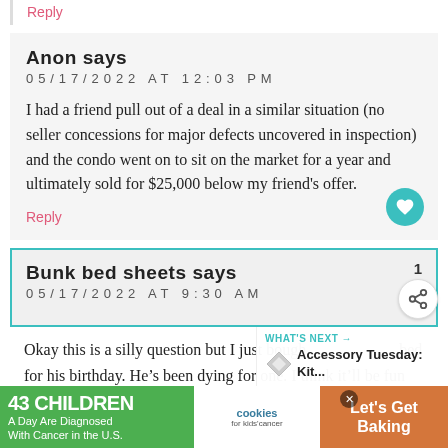Reply
Anon says
05/17/2022 AT 12:03 PM

I had a friend pull out of a deal in a similar situation (no seller concessions for major defects uncovered in inspection) and the condo went on to sit on the market for a year and ultimately sold for $25,000 below my friend's offer.
Reply
Bunk bed sheets says
05/17/2022 AT 9:30 AM
Okay this is a silly question but I just bough  bed for his birthday. He's been dying for one. I think it'll be fun for a good runway of time and I'm excited.
[Figure (infographic): Advertisement banner: '43 CHILDREN A Day Are Diagnosed With Cancer in the U.S.' with cookies for kids' cancer logo and 'Let's Get Baking' text on orange background]